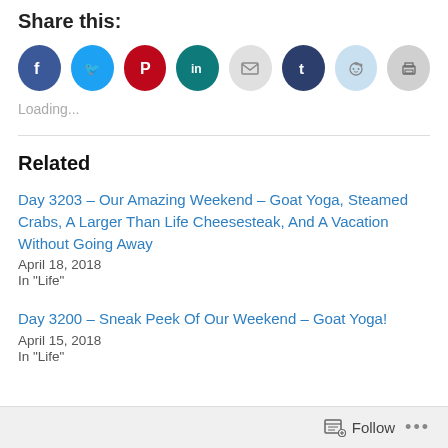Share this:
[Figure (illustration): Row of social media sharing icons: Facebook (blue), Twitter (light blue), Pinterest (red), LinkedIn (teal), Email (light gray), Tumblr (dark navy), Reddit (light blue), Print (gray)]
Loading...
Related
Day 3203 – Our Amazing Weekend – Goat Yoga, Steamed Crabs, A Larger Than Life Cheesesteak, And A Vacation Without Going Away
April 18, 2018
In "Life"
Day 3200 – Sneak Peek Of Our Weekend – Goat Yoga!
April 15, 2018
In "Life"
Follow ...